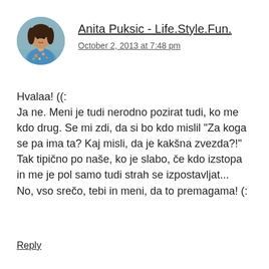[Figure (photo): Circular avatar photo of a woman in a colorful blue floral dress]
Anita Puksic - Life.Style.Fun.
October 2, 2013 at 7:48 pm
Hvalaa! ((:  Ja ne. Meni je tudi nerodno pozirat tudi, ko me kdo drug. Se mi zdi, da si bo kdo mislil "Za koga se pa ima ta? Kaj misli, da je kakšna zvezda?!" Tak tipično po naše, ko je slabo, če kdo izstopa in me je pol samo tudi strah se izpostavljat...  No, vso srečo, tebi in meni, da to premagama! (:
Reply